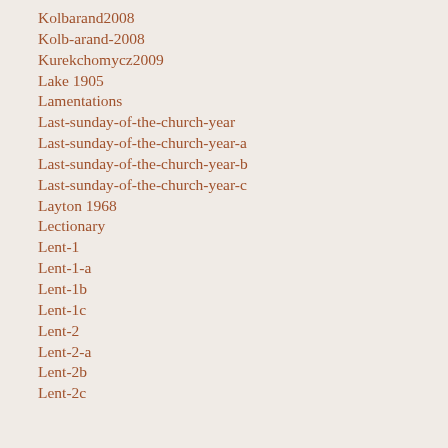Kolbarand2008
Kolb-arand-2008
Kurekchomycz2009
Lake 1905
Lamentations
Last-sunday-of-the-church-year
Last-sunday-of-the-church-year-a
Last-sunday-of-the-church-year-b
Last-sunday-of-the-church-year-c
Layton 1968
Lectionary
Lent-1
Lent-1-a
Lent-1b
Lent-1c
Lent-2
Lent-2-a
Lent-2b
Lent-2c